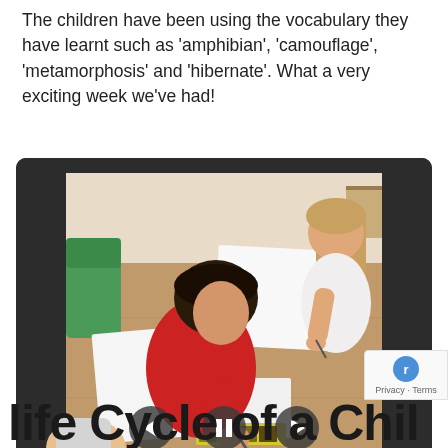The children have been using the vocabulary they have learnt such as 'amphibian', 'camouflage', 'metamorphosis' and 'hibernate'. What a very exciting week we've had!
[Figure (photo): Children sitting at a classroom table drawing and writing on white paper, viewed from above. A boy in a red jumper is leaning over the table with a pencil. A girl with long hair is writing on the right. Educational picture strips are visible on the table.]
Privacy · Terms
Life Cycle of a Chil...